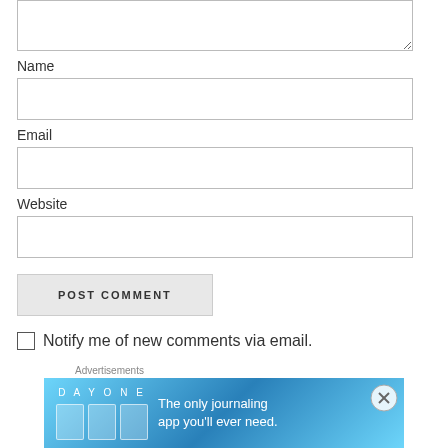[Figure (screenshot): Textarea input field at top of comment form, partially visible]
Name
[Figure (screenshot): Name input text field]
Email
[Figure (screenshot): Email input text field]
Website
[Figure (screenshot): Website input text field]
[Figure (screenshot): POST COMMENT button]
Notify me of new comments via email.
Advertisements
[Figure (screenshot): Day One journaling app advertisement banner]